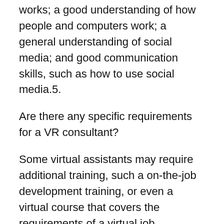works; a good understanding of how people and computers work; a general understanding of social media; and good communication skills, such as how to use social media.5.
Are there any specific requirements for a VR consultant?
Some virtual assistants may require additional training, such a on-the-job development training, or even a virtual course that covers the requirements of a virtual job.
If you hire someone to do a virtual task, they should: be well-versed in the skills needed to solve a particular problem; be able, on a consistent basis, to convey information